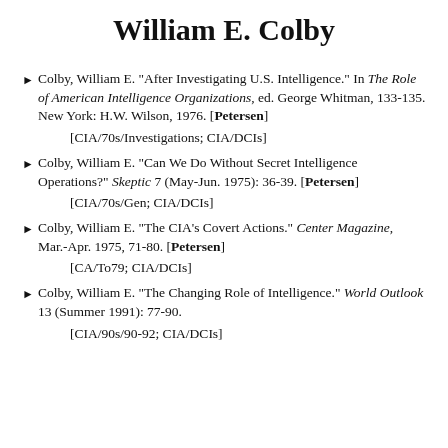William E. Colby
Colby, William E. "After Investigating U.S. Intelligence." In The Role of American Intelligence Organizations, ed. George Whitman, 133-135. New York: H.W. Wilson, 1976. [Petersen]
[CIA/70s/Investigations; CIA/DCIs]
Colby, William E. "Can We Do Without Secret Intelligence Operations?" Skeptic 7 (May-Jun. 1975): 36-39. [Petersen]
[CIA/70s/Gen; CIA/DCIs]
Colby, William E. "The CIA's Covert Actions." Center Magazine, Mar.-Apr. 1975, 71-80. [Petersen]
[CA/To79; CIA/DCIs]
Colby, William E. "The Changing Role of Intelligence." World Outlook 13 (Summer 1991): 77-90.
[CIA/90s/90-92; CIA/DCIs]